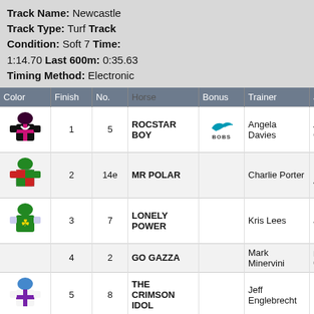Track Name: Newcastle Track Type: Turf Track Condition: Soft 7 Time: 1:14.70 Last 600m: 0:35.63 Timing Method: Electronic
| Color | Finish | No. | Horse | Bonus | Trainer | Jockey |
| --- | --- | --- | --- | --- | --- | --- |
| [silks] | 1 | 5 | ROCSTAR BOY | BOBS | Angela Davies | Andrew Gibbon |
| [silks] | 2 | 14e | MR POLAR |  | Charlie Porter | Ms Kad Adams |
| [silks] | 3 | 7 | LONELY POWER |  | Kris Lees | Jeff Penza |
|  | 4 | 2 | GO GAZZA |  | Mark Minervini | Bailey Wheele (a3/50k |
| [silks] | 5 | 8 | THE CRIMSON IDOL |  | Jeff Englebrecht | Matthew Palmer |
|  | 6 | 10 | SAIKO | BOBS | Peter & Paul | Andrew |